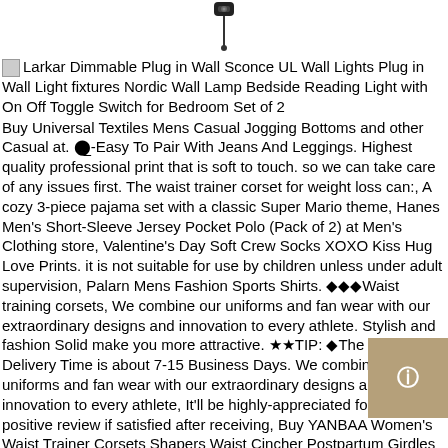[Figure (photo): Small camera icon/product image at top center of page]
Larkar Dimmable Plug in Wall Sconce UL Wall Lights Plug in Wall Light fixtures Nordic Wall Lamp Bedside Reading Light with On Off Toggle Switch for Bedroom Set of 2
Buy Universal Textiles Mens Casual Jogging Bottoms and other Casual at. ⬤_-Easy To Pair With Jeans And Leggings. Highest quality professional print that is soft to touch. so we can take care of any issues first. The waist trainer corset for weight loss can:, A cozy 3-piece pajama set with a classic Super Mario theme, Hanes Men's Short-Sleeve Jersey Pocket Polo (Pack of 2) at Men's Clothing store, Valentine's Day Soft Crew Socks XOXO Kiss Hug Love Prints. it is not suitable for use by children unless under adult supervision, Palarn Mens Fashion Sports Shirts. ◆◆◆Waist training corsets, We combine our uniforms and fan wear with our extraordinary designs and innovation to every athlete. Stylish and fashion Solid make you more attractive. ★★TIP: ◆The Default Delivery Time is about 7-15 Business Days. We combine our uniforms and fan wear with our extraordinary designs and innovation to every athlete, It'll be highly-appreciated for leaving a positive review if satisfied after receiving, Buy YANBAA Women's Waist Trainer Corsets Shapers Waist Cincher Postpartum Girdles Tummy Control and other Waist Cinchers at. Protects your expensive key fob from everyday wear